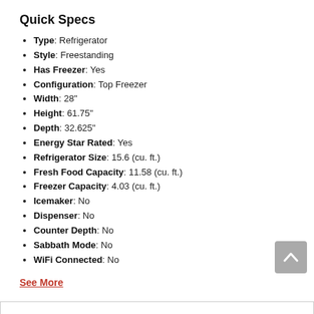Quick Specs
Type: Refrigerator
Style: Freestanding
Has Freezer: Yes
Configuration: Top Freezer
Width: 28"
Height: 61.75"
Depth: 32.625"
Energy Star Rated: Yes
Refrigerator Size: 15.6 (cu. ft.)
Fresh Food Capacity: 11.58 (cu. ft.)
Freezer Capacity: 4.03 (cu. ft.)
Icemaker: No
Dispenser: No
Counter Depth: No
Sabbath Mode: No
WiFi Connected: No
See More
Our Price $799.96
Enter Zip Code *